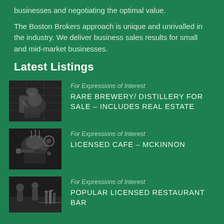businesses and negotiating the optimal value.
The Boston Brokers approach is unique and unrivalled in the industry. We deliver business sales results for small and mid-market businesses.
Latest Listings
[Figure (photo): Black and white photo of tattooed hands holding a glass, brewery/bar setting]
For Expressions of Interest
RARE BREWERY/ DISTILLERY FOR SALE – INCLUDES REAL ESTATE
[Figure (photo): Black and white photo of espresso machine / coffee being made]
For Expressions of Interest
LICENSED CAFE – McKINNON
[Figure (photo): Black and white photo of a restaurant or bar scene with people]
For Expressions of Interest
POPULAR LICENSED RESTAURANT BAR